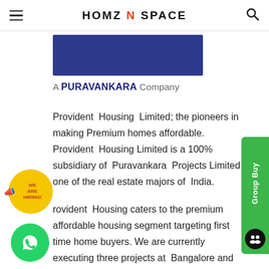HOMZ N SPACE
[Figure (logo): Blue rectangular logo block for Provident Housing]
A PURAVANKARA Company
Provident Housing Limited; the pioneers in making Premium homes affordable. Provident Housing Limited is a 100% subsidiary of Puravankara Projects Limited, one of the real estate majors of India.
Provident Housing caters to the premium affordable housing segment targeting first time home buyers. We are currently executing three projects at Bangalore and Chennai. The three projects together provide about 6.5 million SFT of living space. The